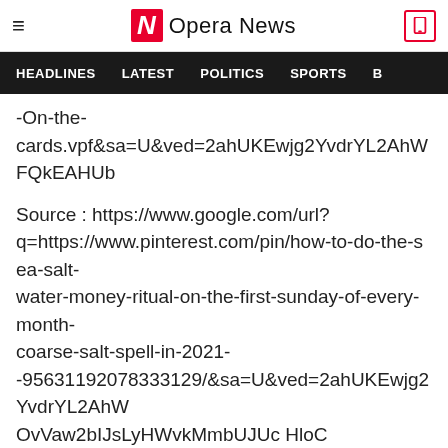Opera News
HEADLINES   LATEST   POLITICS   SPORTS   B
-On-the-
cards.vpf&sa=U&ved=2ahUKEwjg2YvdrYL2AhWFQkEAHUb
Source : https://www.google.com/url?q=https://www.pinterest.com/pin/how-to-do-the-sea-salt-water-money-ritual-on-the-first-sunday-of-every-month-coarse-salt-spell-in-2021--95631192078333129/&sa=U&ved=2ahUKEwjg2YvdrYL2AhWOvVaw2bIJsLyHWvkMmbUJUc HloC
Content created and supp TsepoNews (via Opera